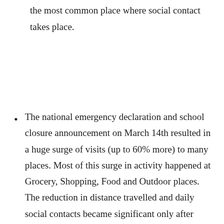Supermarkets and grocery stores have become the most common place where social contact takes place.
The national emergency declaration and school closure announcement on March 14th resulted in a huge surge of visits (up to 60% more) to many places. Most of this surge in activity happened at Grocery, Shopping, Food and Outdoor places. The reduction in distance travelled and daily social contacts became significant only after non-essential business